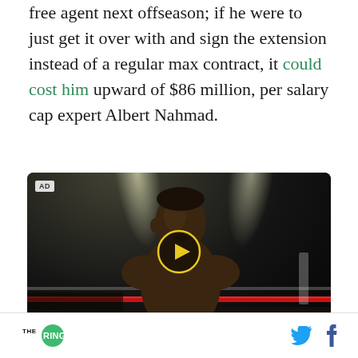free agent next offseason; if he were to just get it over with and sign the extension instead of a regular max contract, it could cost him upward of $86 million, per salary cap expert Albert Nahmad.
[Figure (photo): Video advertisement showing a boxer in a boxing ring under spotlights, with a yellow play button overlay circle in the center. An 'AD' label appears in the top-left corner.]
THE RINGER [logo] [Twitter icon] [Facebook icon]